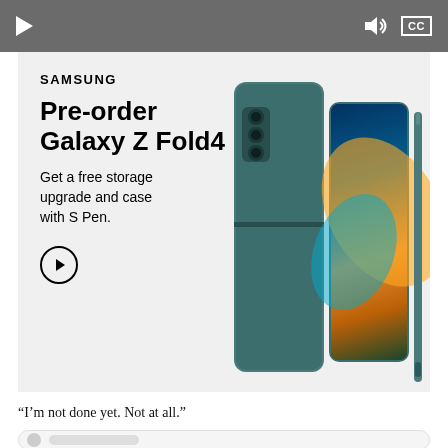[Figure (screenshot): Video player control bar with play button, volume icon, and CC button on dark gray background]
[Figure (photo): Samsung advertisement for Galaxy Z Fold4 pre-order. Text reads: SAMSUNG, Pre-order Galaxy Z Fold4, Get a free storage upgrade and case with S Pen. Arrow circle button. Right side shows Samsung Galaxy Z Fold4 phone in teal/green color folded and with S Pen stylus.]
“I’m not done yet. Not at all.”
[Figure (screenshot): Bottom comment input area with avatar circle and comment placeholder pill shapes]